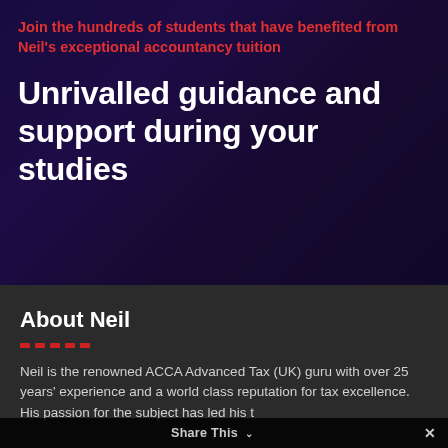[Figure (photo): Dark background image showing hands writing on paper with accounting/financial documents, overlaid with a dark blue-purple tint]
Join the hundreds of students that have benefited from Neil's exceptional accountancy tuition
Unrivalled guidance and support during your studies
About Neil
Neil is the renowned ACCA Advanced Tax (UK) guru with over 25 years' experience and a world class reputation for tax excellence. His passion for the subject has led him t...
Share This